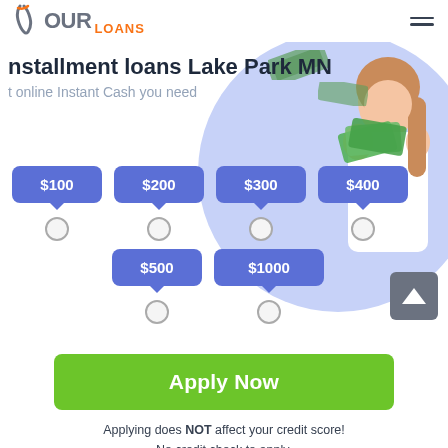[Figure (logo): YourLoans logo with stylized orange J and grey OUR text with orange LOANS label]
Installment loans Lake Park MN
Get online Instant Cash you need
[Figure (infographic): Hero banner with woman holding cash, floating dollar bills, and loan amount selection buttons: $100, $200, $300, $400, $500, $1000 with radio selectors]
[Figure (illustration): Green Apply Now button]
Applying does NOT affect your credit score! No credit check to apply.